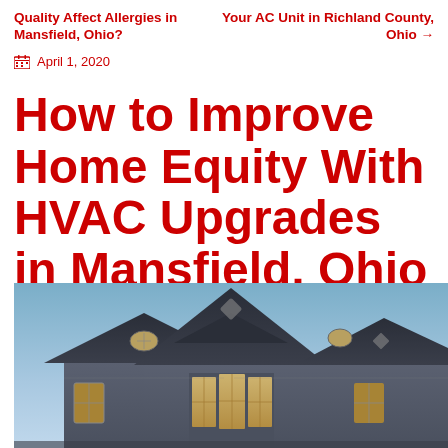Quality Affect Allergies in Mansfield, Ohio?
Your AC Unit in Richland County, Ohio →
April 1, 2020
How to Improve Home Equity With HVAC Upgrades in Mansfield, Ohio
[Figure (photo): Exterior photo of a large two-story house with gray siding, multiple gabled rooflines, bay windows with warm interior lighting, and a blue dusk sky in the background.]